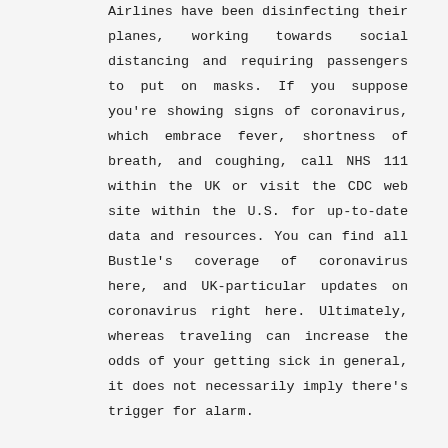Airlines have been disinfecting their planes, working towards social distancing and requiring passengers to put on masks. If you suppose you're showing signs of coronavirus, which embrace fever, shortness of breath, and coughing, call NHS 111 within the UK or visit the CDC web site within the U.S. for up-to-date data and resources. You can find all Bustle's coverage of coronavirus here, and UK-particular updates on coronavirus right here. Ultimately, whereas traveling can increase the odds of your getting sick in general, it does not necessarily imply there's trigger for alarm.
Spirit spokesman Field Sutton mentioned he did not know when the route would resume. Spirit will droop its Cleveland to Newark service in early September. Clipboard, Search History, and several different advanced